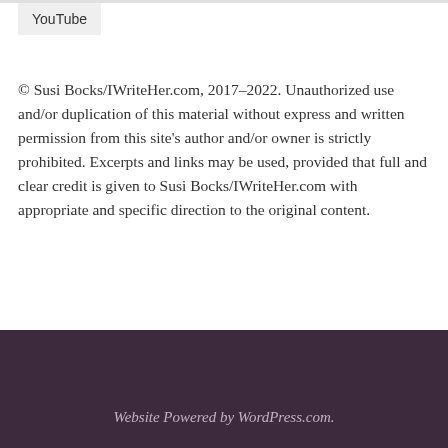YouTube
© Susi Bocks/IWriteHer.com, 2017–2022. Unauthorized use and/or duplication of this material without express and written permission from this site's author and/or owner is strictly prohibited. Excerpts and links may be used, provided that full and clear credit is given to Susi Bocks/IWriteHer.com with appropriate and specific direction to the original content.
Website Powered by WordPress.com.